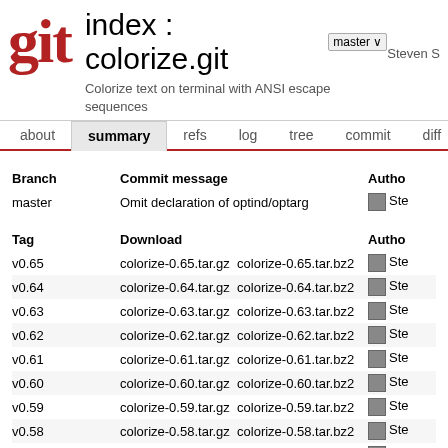index : colorize.git
Colorize text on terminal with ANSI escape sequences
about  summary  refs  log  tree  commit  diff  stat
| Branch | Commit message | Author |
| --- | --- | --- |
| master | Omit declaration of optind/optarg | Ste... |
| Tag | Download | Author |
| --- | --- | --- |
| v0.65 | colorize-0.65.tar.gz  colorize-0.65.tar.bz2 | Ste... |
| v0.64 | colorize-0.64.tar.gz  colorize-0.64.tar.bz2 | Ste... |
| v0.63 | colorize-0.63.tar.gz  colorize-0.63.tar.bz2 | Ste... |
| v0.62 | colorize-0.62.tar.gz  colorize-0.62.tar.bz2 | Ste... |
| v0.61 | colorize-0.61.tar.gz  colorize-0.61.tar.bz2 | Ste... |
| v0.60 | colorize-0.60.tar.gz  colorize-0.60.tar.bz2 | Ste... |
| v0.59 | colorize-0.59.tar.gz  colorize-0.59.tar.bz2 | Ste... |
| v0.58 | colorize-0.58.tar.gz  colorize-0.58.tar.bz2 | Ste... |
| v0.57 | colorize-0.57.tar.gz  colorize-0.57.tar.bz2 | Ste... |
| v0.56 | colorize-0.56.tar.gz  colorize-0.56.tar.bz2 | Ste... |
[...]